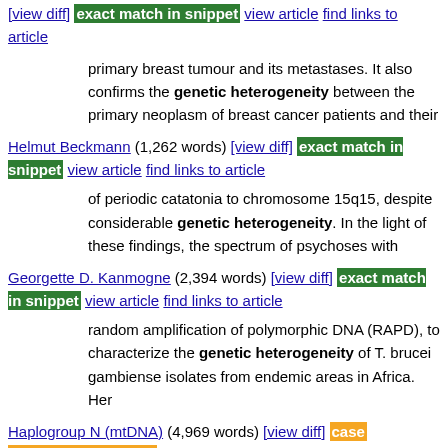[view diff] exact match in snippet view article find links to article
primary breast tumour and its metastases. It also confirms the genetic heterogeneity between the primary neoplasm of breast cancer patients and their
Helmut Beckmann (1,262 words) [view diff] exact match in snippet view article find links to article
of periodic catatonia to chromosome 15q15, despite considerable genetic heterogeneity. In the light of these findings, the spectrum of psychoses with
Georgette D. Kanmogne (2,394 words) [view diff] exact match in snippet view article find links to article
random amplification of polymorphic DNA (RAPD), to characterize the genetic heterogeneity of T. brucei gambiense isolates from endemic areas in Africa. Her
Haplogroup N (mtDNA) (4,969 words) [view diff] case mismatch in snippet view article